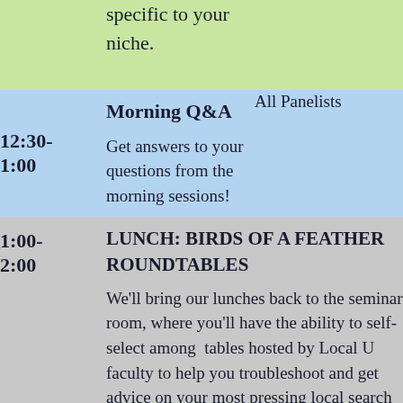| Time | Session | Presenter |
| --- | --- | --- |
|  | specific to your niche. |  |
| 12:30-1:00 | Morning Q&A

Get answers to your questions from the morning sessions! | All Panelists |
| 1:00-2:00 | LUNCH: BIRDS OF A FEATHER ROUNDTABLES

We'll bring our lunches back to the seminar room, where you'll have the ability to self-select among tables hosted by Local U faculty to help you troubleshoot and get advice on your most pressing local search issues. |  |